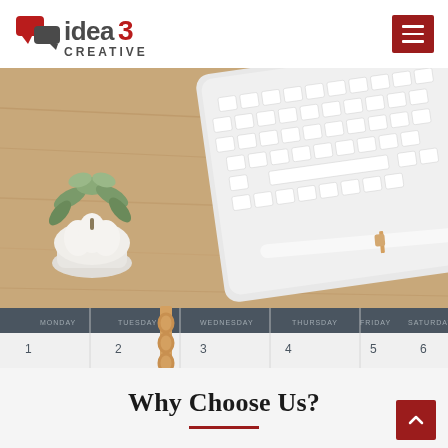idea3 CREATIVE — navigation header with logo and hamburger menu
[Figure (photo): Flat lay photo of a wooden desk with a white Apple keyboard, a succulent plant in a white pot, a white and gold pen, and a weekly planner/calendar showing days Monday through Saturday with numbers 1-6]
Why Choose Us?